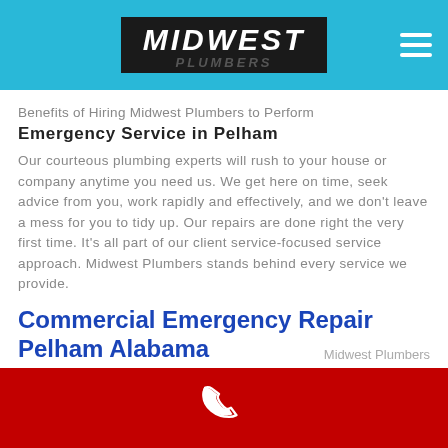[Figure (logo): Midwest Plumbers logo on dark background in navigation bar]
Benefits of Hiring Midwest Plumbers to Perform
Emergency Service in Pelham
Our courteous plumbing experts will rush to your house or company anytime you need us. We get here on time, seek advice from you, work rapidly and effectively, and we don't leave a mess for you to tidy up. Our repairs are done right the very first time. It's all part of our client service-focused service approach. Midwest Plumbers stands behind every service we provide.
Commercial Emergency Repair Pelham Alabama
Midwest Plumbers
[Figure (illustration): Red footer bar with white phone icon]